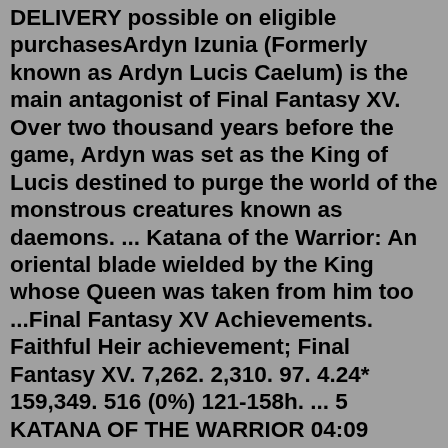DELIVERY possible on eligible purchasesArdyn Izunia (Formerly known as Ardyn Lucis Caelum) is the main antagonist of Final Fantasy XV. Over two thousand years before the game, Ardyn was set as the King of Lucis destined to purge the world of the monstrous creatures known as daemons. ... Katana of the Warrior: An oriental blade wielded by the King whose Queen was taken from him too ...Final Fantasy XV Achievements. Faithful Heir achievement; Final Fantasy XV. 7,262. 2,310. 97. 4.24* 159,349. 516 (0%) 121-158h. ... 5 KATANA OF THE WARRIOR 04:09 Unlocks automatically (Chapter 10)A page for describing Characters: Final Fantasy XV - Party Members. ... Katanas Are Just Better: In earlier builds for Versus XIII his main weapon was a katana, representative of his sense of duty toward Noctis. Retained in the final game's Armiger Chain, where he wields the Katana of the Warrior. ... Retained in the final game's Armiger Chain ...FINAL FANTASY XVhttps://store.playstation.com/#!/en-sg/tid=CUSA01570_00 Mar 08, 2018 · During the